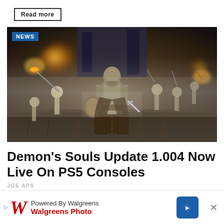Read more
[Figure (screenshot): Game screenshot from Demon's Souls showing an armored warrior standing with sword and shield facing a horde of skeletal enemies in a dark, misty battlefield. A NEWS badge appears in the top-left corner.]
Demon’s Souls Update 1.004 Now Live On PS5 Consoles
JOE APS
[Figure (infographic): Advertisement banner: Powered By Walgreens / Walgreens Photo with Walgreens logo, directional diamond icon, and close X button]
Demon